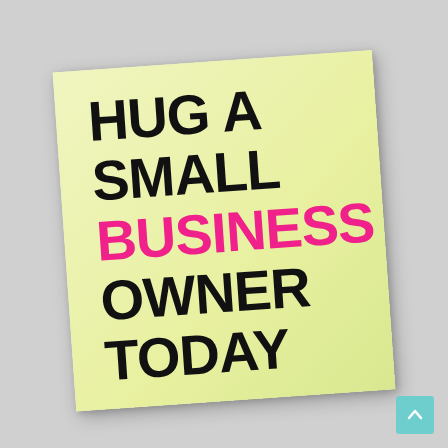[Figure (illustration): A yellow sticky note rotated slightly counter-clockwise on a light grey background, containing bold black and pink text reading 'HUG A SMALL BUSINESS OWNER TODAY' with the word 'BUSINESS' highlighted in hot pink. A teal scroll-to-top button is visible in the bottom right corner.]